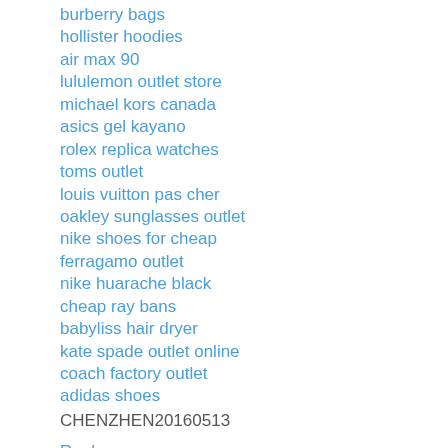burberry bags
hollister hoodies
air max 90
lululemon outlet store
michael kors canada
asics gel kayano
rolex replica watches
toms outlet
louis vuitton pas cher
oakley sunglasses outlet
nike shoes for cheap
ferragamo outlet
nike huarache black
cheap ray bans
babyliss hair dryer
kate spade outlet online
coach factory outlet
adidas shoes
CHENZHEN20160513
Reply